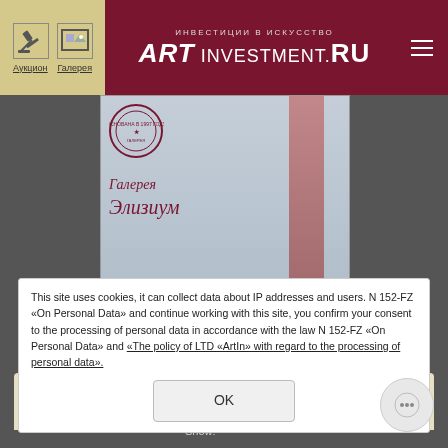ART INVESTMENT.RU — Инвестиции в искусство | Аукцион | Галерея
[Figure (photo): Gallery promotional image showing Elysium gallery branding with Cyrillic text: Галерея Элизиум, Москва, Гороховский пер., д. 7]
Top Russian artists and sculptors
Show: Top russian artists...
Top 37
This site uses cookies, it can collect data about IP addresses and users. N 152-FZ «On Personal Data» and continue working with this site, you confirm your consent to the processing of personal data in accordance with the law N 152-FZ «On Personal Data» and «The policy of LTD «ArtIn» with regard to the processing of personal data».
1. Mark Rothko $86.83...
2. Kazimir Malevich $85.84 million